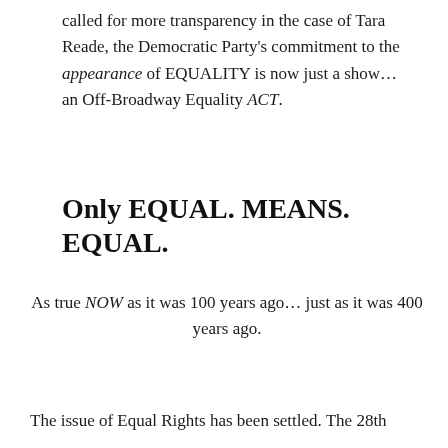called for more transparency in the case of Tara Reade, the Democratic Party's commitment to the appearance of EQUALITY is now just a show... an Off-Broadway Equality ACT.
Only EQUAL. MEANS. EQUAL.
As true NOW as it was 100 years ago... just as it was 400 years ago.
The issue of Equal Rights has been settled. The 28th